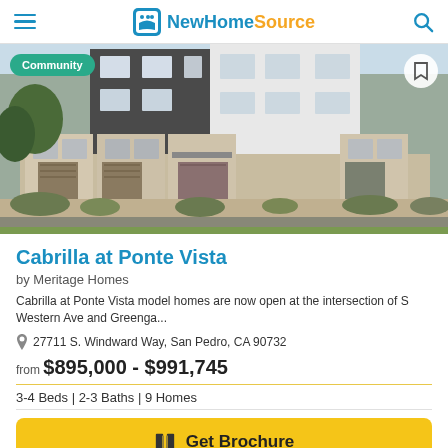NewHomeSource
[Figure (photo): Exterior rendering of a multi-story modern townhome community with dark and light gray facades, multiple garage and entry doors, and landscaping along the street]
Cabrilla at Ponte Vista
by Meritage Homes
Cabrilla at Ponte Vista model homes are now open at the intersection of S Western Ave and Greenga...
27711 S. Windward Way, San Pedro, CA 90732
from $895,000 - $991,745
3-4 Beds | 2-3 Baths | 9 Homes
Get Brochure